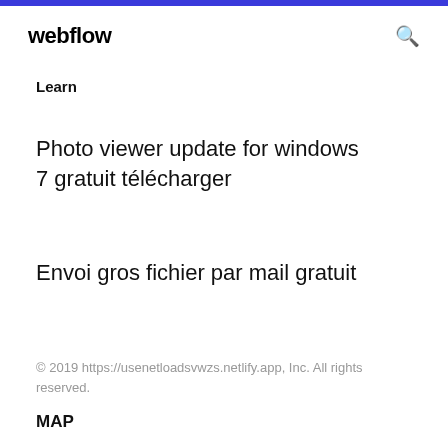webflow
Learn
Photo viewer update for windows 7 gratuit télécharger
Envoi gros fichier par mail gratuit
© 2019 https://usenetloadsvwzs.netlify.app, Inc. All rights reserved.
MAP